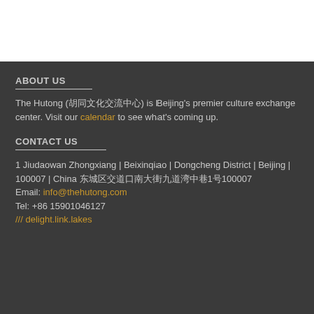ABOUT US
The Hutong (哈哈哈哈哈哈哈哈哈哈哈) is Beijing's premier culture exchange center. Visit our calendar to see what's coming up.
CONTACT US
1 Jiudaowan Zhongxiang | Beixinqiao | Dongcheng District | Beijing | 100007 | China 哈哈哈哈哈哈哈哈哈哈哈哈1哈100007
Email: info@thehutong.com
Tel: +86 15901046127
/// delight.link.lakes